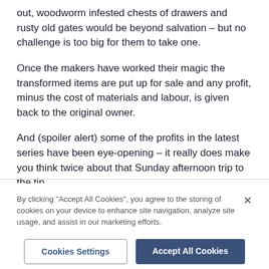out, woodworm infested chests of drawers and rusty old gates would be beyond salvation – but no challenge is too big for them to take one.
Once the makers have worked their magic the transformed items are put up for sale and any profit, minus the cost of materials and labour, is given back to the original owner.
And (spoiler alert) some of the profits in the latest series have been eye-opening – it really does make you think twice about that Sunday afternoon trip to the tip.
By clicking "Accept All Cookies", you agree to the storing of cookies on your device to enhance site navigation, analyze site usage, and assist in our marketing efforts.